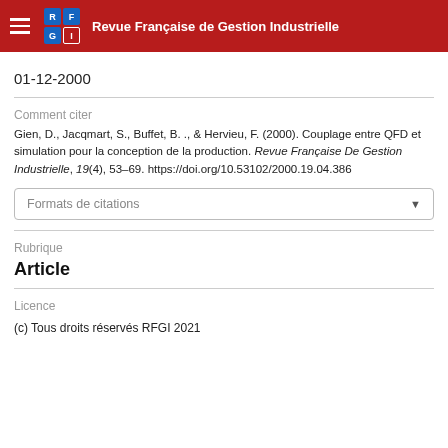Revue Française de Gestion Industrielle
01-12-2000
Comment citer
Gien, D., Jacqmart, S., Buffet, B. ., & Hervieu, F. (2000). Couplage entre QFD et simulation pour la conception de la production. Revue Française De Gestion Industrielle, 19(4), 53–69. https://doi.org/10.53102/2000.19.04.386
Formats de citations
Rubrique
Article
Licence
(c) Tous droits réservés RFGI 2021